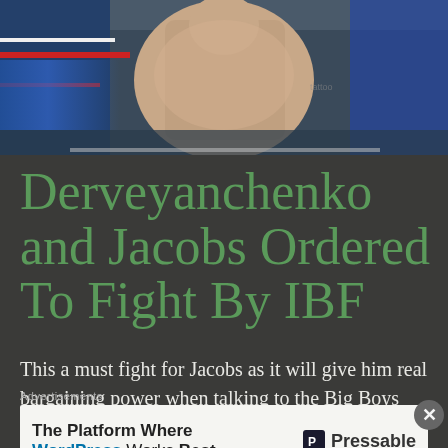[Figure (photo): Boxing photo showing a shirtless fighter near the ring ropes, with blue corner visible]
Derveyanchenko and Jacobs Ordered To Fight By IBF
This a must fight for Jacobs as it will give him real bargaining power when talking to the Big Boys such as GGG and Canelo not to mention strengthen his hand...
Advertisements
The Platform Where WordPress Works Best — Pressable